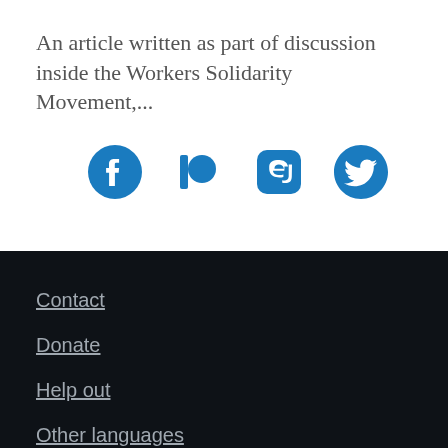An article written as part of discussion inside the Workers Solidarity Movement,...
[Figure (illustration): Four social media icons in blue: Facebook, Patreon, Mastodon, Twitter]
Contact
Donate
Help out
Other languages
Site notes